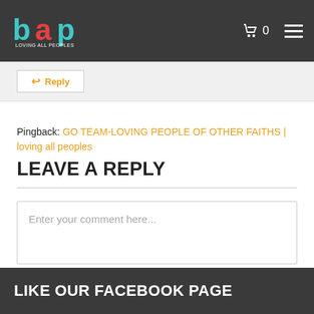[Figure (logo): LAP Loving All Peoples logo with colorful letters and text]
↩ Reply
Pingback: GO TEAM-LOVING PEOPLE OF OTHER FAITHS | loving all peoples
LEAVE A REPLY
Enter your comment here...
LIKE OUR FACEBOOK PAGE